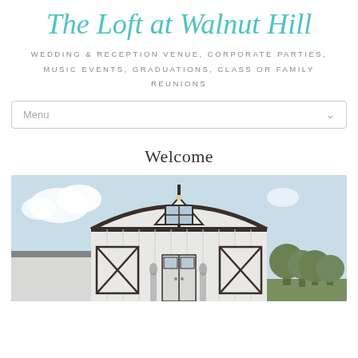The Loft at Walnut Hill
WEDDING & RECEPTION VENUE, CORPORATE PARTIES, MUSIC EVENTS, GRADUATIONS, CLASS OR FAMILY REUNIONS
Menu
Welcome
[Figure (photo): Front exterior of The Loft at Walnut Hill, a white barn-style venue with dark trim, arched roof, a loft window, and double doors, set against a light blue sky with trees in the background.]